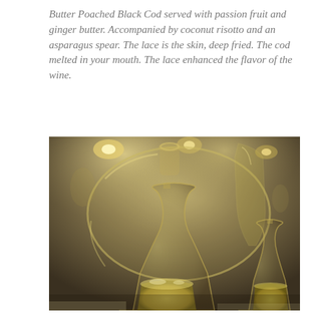Butter Poached Black Cod served with passion fruit and ginger butter. Accompanied by coconut risotto and an asparagus spear. The lace is the skin, deep fried. The cod melted in your mouth. The lace enhanced the flavor of the wine.
[Figure (photo): Photo of large glass wine decanter and wine glasses filled with white/yellow wine or champagne, set on a table in a dimly lit restaurant setting with warm ambient lighting in the background.]